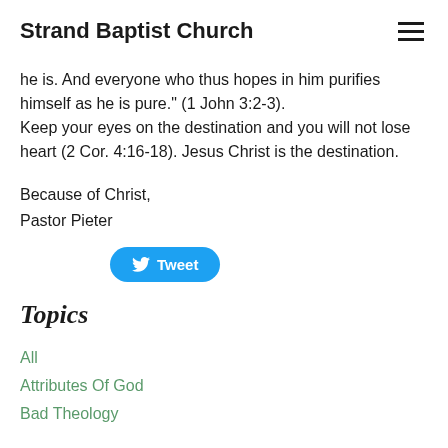Strand Baptist Church
he is. And everyone who thus hopes in him purifies himself as he is pure." (1 John 3:2-3).
Keep your eyes on the destination and you will not lose heart (2 Cor. 4:16-18). Jesus Christ is the destination.
Because of Christ,
Pastor Pieter
[Figure (other): Twitter Tweet button in blue rounded rectangle with Twitter bird icon]
Topics
All
Attributes Of God
Bad Theology